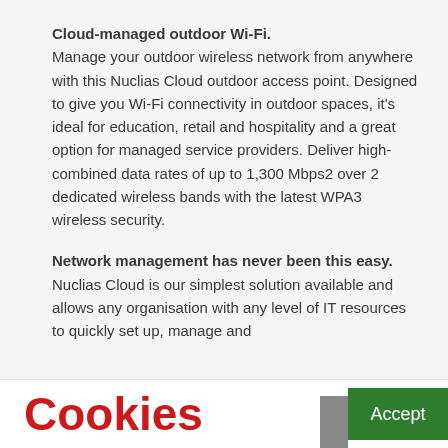Cloud-managed outdoor Wi-Fi. Manage your outdoor wireless network from anywhere with this Nuclias Cloud outdoor access point. Designed to give you Wi-Fi connectivity in outdoor spaces, it's ideal for education, retail and hospitality and a great option for managed service providers. Deliver high-combined data rates of up to 1,300 Mbps2 over 2 dedicated wireless bands with the latest WPA3 wireless security.
Network management has never been this easy. Nuclias Cloud is our simplest solution available and allows any organisation with any level of IT resources to quickly set up, manage and
Cookies
Accept